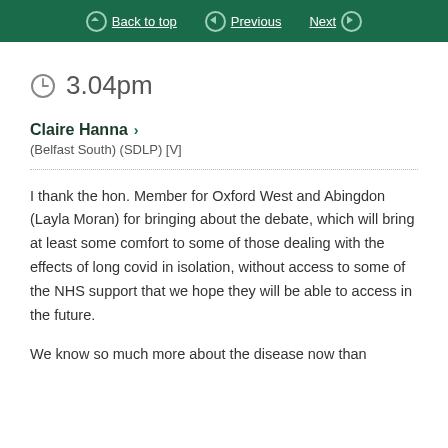Back to top | Previous | Next
3.04pm
Claire Hanna > (Belfast South) (SDLP) [V]
I thank the hon. Member for Oxford West and Abingdon (Layla Moran) for bringing about the debate, which will bring at least some comfort to some of those dealing with the effects of long covid in isolation, without access to some of the NHS support that we hope they will be able to access in the future.
We know so much more about the disease now than